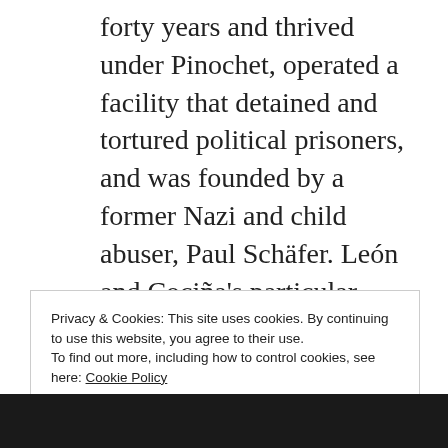forty years and thrived under Pinochet, operated a facility that detained and tortured political prisoners, and was founded by a former Nazi and child abuser, Paul Schäfer. León and Cociña's particular technique evokes some of the eeriness that is present in the work of the Quay Brothers, which amplifies the ugliness inherent in this tragic moment in their country's history. Nothing written here will do adequate justice to the brilliance of the visual elements of this incredible and affecting film.
Privacy & Cookies: This site uses cookies. By continuing to use this website, you agree to their use.
To find out more, including how to control cookies, see here: Cookie Policy
Close and accept
[Figure (photo): Dark photo strip at the bottom of the page showing partial image of people]